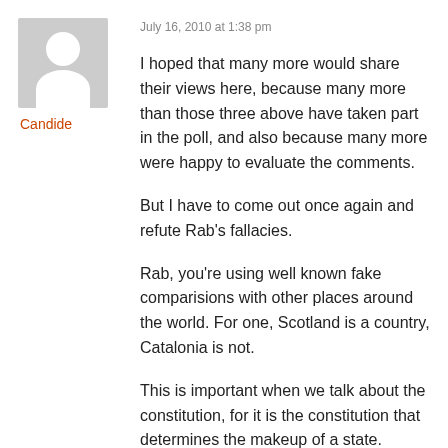[Figure (illustration): Gray placeholder avatar icon showing a person silhouette (head and shoulders) in white on gray background]
Candide
July 16, 2010 at 1:38 pm
I hoped that many more would share their views here, because many more than those three above have taken part in the poll, and also because many more were happy to evaluate the comments.
But I have to come out once again and refute Rab's fallacies.
Rab, you're using well known fake comparisions with other places around the world. For one, Scotland is a country, Catalonia is not.
This is important when we talk about the constitution, for it is the constitution that determines the makeup of a state.